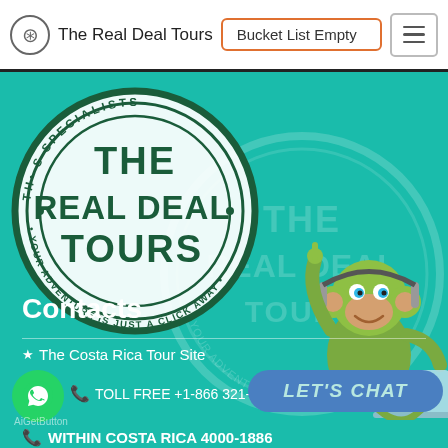The Real Deal Tours | Bucket List Empty
[Figure (logo): The Real Deal Tours stamp logo with text 'THE REAL DEAL TOURS · YOUR ADVENTURE IS JUST A CLICK AWAY' on teal background with a semi-transparent watermark version behind]
Contacts
★ The Costa Rica Tour Site
TOLL FREE +1-866 321-0497
LET'S CHAT
AiGetButton
WITHIN COSTA RICA 4000-1886